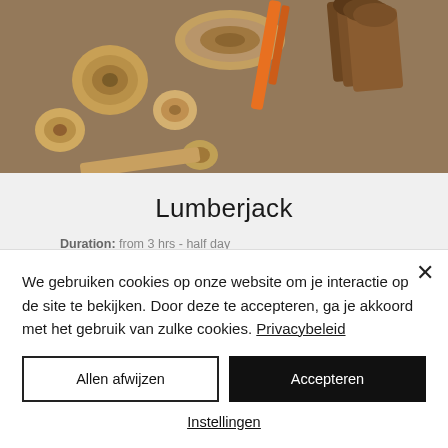[Figure (photo): Overhead photo of wood cross-sections, logs, and wood pieces with tools on a sandy surface]
Lumberjack
Duration: from 3 hrs - half day
Group size: max 30 p.p. session
Season: year through
More information
We gebruiken cookies op onze website om je interactie op de site te bekijken. Door deze te accepteren, ga je akkoord met het gebruik van zulke cookies. Privacybeleid
Allen afwijzen
Accepteren
Instellingen